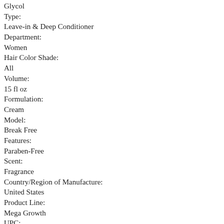Glycol
Type:
Leave-in & Deep Conditioner
Department:
Women
Hair Color Shade:
All
Volume:
15 fl oz
Formulation:
Cream
Model:
Break Free
Features:
Paraben-Free
Scent:
Fragrance
Country/Region of Manufacture:
United States
Product Line:
Mega Growth
UPC:
0802535005044